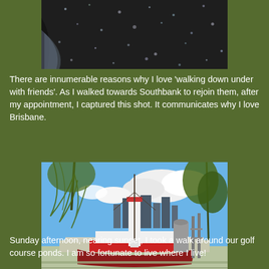[Figure (photo): Close-up photo of dark pavement or road surface with scattered white/light colored debris or particles visible, and a partial shadow or shape visible on the left side.]
There are innumerable reasons why I love 'walking down under with friends'. As I walked towards Southbank to rejoin them, after my appointment, I captured this shot. It communicates why I love Brisbane.
[Figure (photo): Photo of Southbank Brisbane area showing a historic red and white vessel/boat docked near a white lighthouse structure, with weeping trees in the foreground, city skyline in the background, and blue sky with clouds.]
Sunday afternoon, nearing sunset, I took a walk around our golf course ponds. I am so fortunate to live where I live!